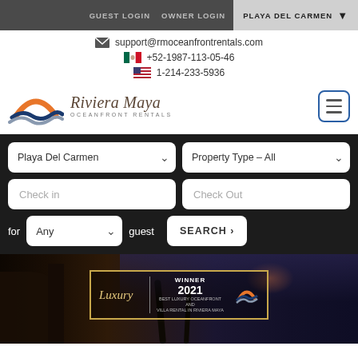GUEST LOGIN   OWNER LOGIN   PLAYA DEL CARMEN
support@rmoceanfrontrentals.com
+52-1987-113-05-46
1-214-233-5936
[Figure (logo): Riviera Maya Oceanfront Rentals logo with stylized waves and sun]
Playa Del Carmen   Property Type - All
Check in   Check Out
for Any guest   SEARCH
[Figure (photo): Hero image of oceanfront resort at sunset with palms. Winner 2021 award badge overlay.]